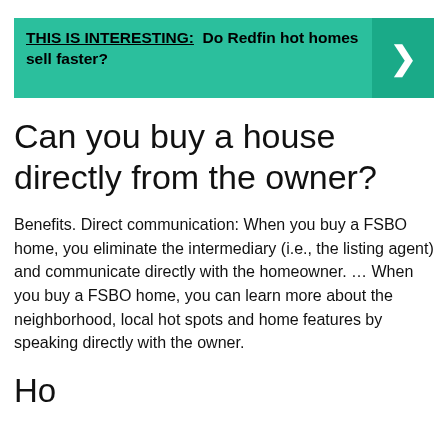[Figure (infographic): Green banner with text 'THIS IS INTERESTING: Do Redfin hot homes sell faster?' and a dark green arrow block on the right]
Can you buy a house directly from the owner?
Benefits. Direct communication: When you buy a FSBO home, you eliminate the intermediary (i.e., the listing agent) and communicate directly with the homeowner. ... When you buy a FSBO home, you can learn more about the neighborhood, local hot spots and home features by speaking directly with the owner.
Ho...